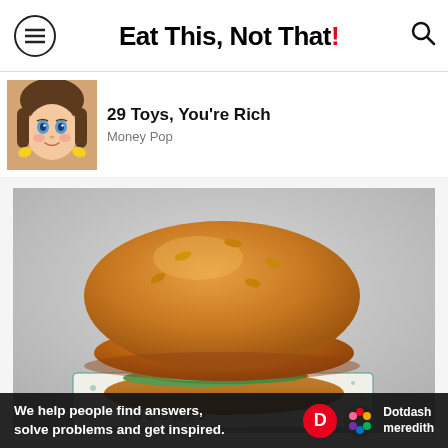Eat This, Not That!
29 Toys, You're Rich
Money Pop
[Figure (photo): Crispy fried chicken sandwich on a brioche bun with pickles and sauce, placed on branded wrapper paper]
We help people find answers, solve problems and get inspired.
Dotdash meredith